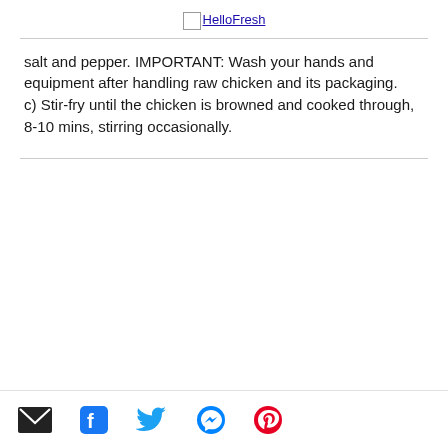HelloFresh
salt and pepper. IMPORTANT: Wash your hands and equipment after handling raw chicken and its packaging.
c) Stir-fry until the chicken is browned and cooked through, 8-10 mins, stirring occasionally.
Email | Facebook | Twitter | Messenger | Pinterest